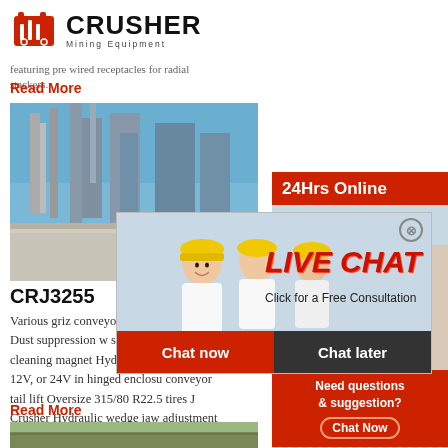[Figure (logo): CRUSHER Mining Equipment logo with red shopping bag icon]
featuring pre wired receptacles for radial stackers.
Read More
[Figure (photo): Industrial mining/crushing plant facility photo]
CRJ3255
Various griz conveyor with hydraulic fold Dust suppression w system Cross belt self-cleaning magnet Hydrau run-on jacks (gas, 12V, or 24V in hinged enclosu conveyor tail lift Oversize 315/80 R22.5 tires J Crusher Hydraulic wedge jaw adjustment
Read More
[Figure (photo): Outdoor mining/road construction scene]
[Figure (infographic): Live Chat popup overlay with workers in hard hats, LIVE CHAT text, Chat now and Chat later buttons]
[Figure (infographic): Right sidebar: 24Hrs Online bar, customer service photo, Need questions & suggestion Chat Now, Enquiry, limingjlmofen@sina.com]